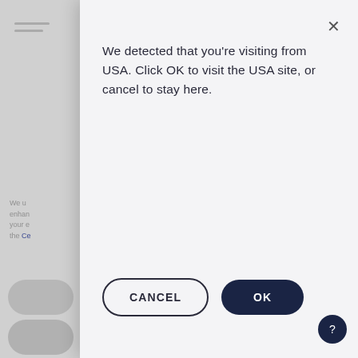[Figure (screenshot): A website modal/dialog overlay showing a geolocation redirect prompt. The modal says 'We detected that you're visiting from USA. Click OK to visit the USA site, or cancel to stay here.' with a CANCEL button and an OK button. Behind the modal is a partially visible webpage with navigation lines and dimmed text. A close (X) button is in the top right of the modal. A help/question mark circular button appears in the bottom right corner.]
We detected that you're visiting from USA. Click OK to visit the USA site, or cancel to stay here.